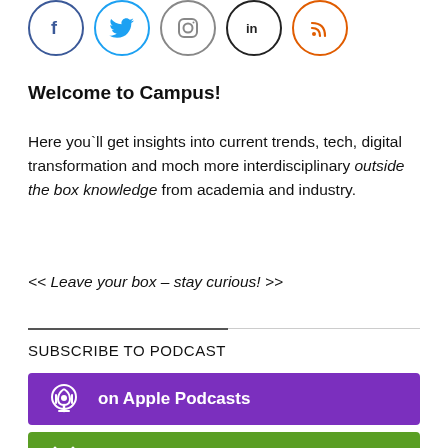[Figure (illustration): Row of five social media icon circles: Facebook (blue), Twitter (light blue), Instagram (grey), LinkedIn (black), RSS (orange-red)]
Welcome to Campus!
Here you`ll get insights into current trends, tech, digital transformation and moch more interdisciplinary outside the box knowledge from academia and industry.
<< Leave your box – stay curious! >>
SUBSCRIBE TO PODCAST
[Figure (illustration): Purple button with podcast microphone icon and text 'on Apple Podcasts']
[Figure (illustration): Green button with Android robot icon and text 'on Android']